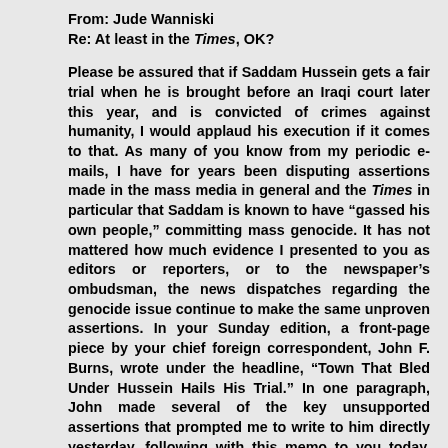From: Jude Wanniski
Re: At least in the Times, OK?
Please be assured that if Saddam Hussein gets a fair trial when he is brought before an Iraqi court later this year, and is convicted of crimes against humanity, I would applaud his execution if it comes to that. As many of you know from my periodic e-mails, I have for years been disputing assertions made in the mass media in general and the Times in particular that Saddam is known to have “gassed his own people,” committing mass genocide. It has not mattered how much evidence I presented to you as editors or reporters, or to the newspaper’s ombudsman, the news dispatches regarding the genocide issue continue to make the same unproven assertions. In your Sunday edition, a front-page piece by your chief foreign correspondent, John F. Burns, wrote under the headline, “Town That Bled Under Hussein Hails His Trial.” In one paragraph, John made several of the key unsupported assertions that prompted me to write to him directly yesterday, following with this memo to you today. Here is